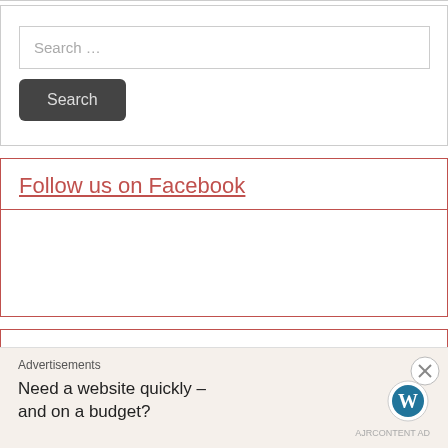Search …
Search
Follow us on Facebook
Follow us on Twitter
Advertisements
Need a website quickly – and on a budget?